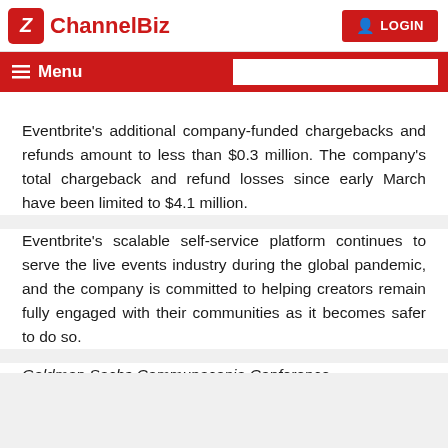ChannelBiz — LOGIN
Menu
Eventbrite's additional company-funded chargebacks and refunds amount to less than $0.3 million. The company's total chargeback and refund losses since early March have been limited to $4.1 million.
Eventbrite's scalable self-service platform continues to serve the live events industry during the global pandemic, and the company is committed to helping creators remain fully engaged with their communities as it becomes safer to do so.
Goldman Sachs Communacopia Conference